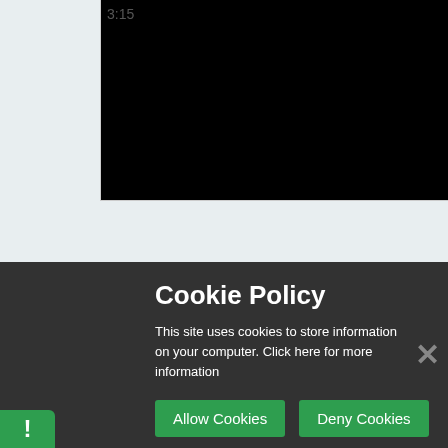3:15
[Figure (screenshot): Video player interface showing a black video area with a timestamp '3:15' visible in the top left panel area. The page also shows a cookie consent overlay dialog with title 'Cookie Policy', explanatory text, and two green buttons 'Allow Cookies' and 'Deny Cookies'. A green exclamation badge appears at the bottom left.]
Cookie Policy
This site uses cookies to store information on your computer. Click here for more information
Allow Cookies
Deny Cookies